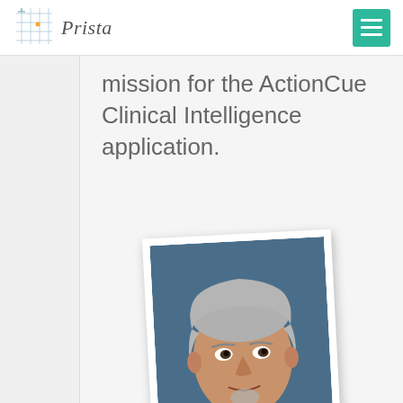Prista
mission for the ActionCue Clinical Intelligence application.
[Figure (photo): Headshot of a middle-aged man with gray hair and a goatee, wearing a dark suit jacket and light-colored shirt, against a blue background. The photo is slightly rotated with a white border giving a polaroid-like appearance.]